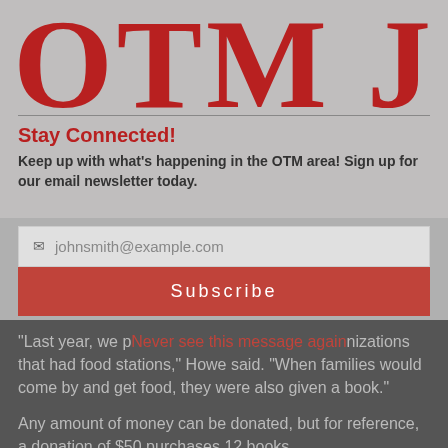[Figure (logo): OTM logo with large red serif letters on grey background]
Stay Connected!
Keep up with what’s happening in the OTM area! Sign up for our email newsletter today.
[Figure (screenshot): Email subscription form with input field showing placeholder johnsmith@example.com and a red Subscribe button]
“Last year, we p… Never see this message again … nizations that had food stations,” Howe said. “When families would come by and get food, they were also given a book.”
Any amount of money can be donated, but for reference, a donation of $50 purchases 12 books.